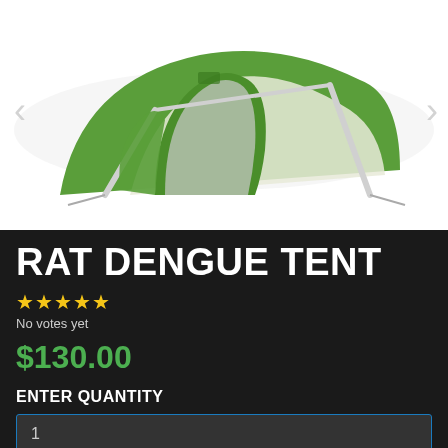[Figure (photo): Green camping tent with white/grey inner, showing two poles and open doorway, on white background with navigation arrows on sides]
RAT DENGUE TENT
[Figure (other): 5 yellow star rating icons]
No votes yet
$130.00
ENTER QUANTITY
1
OUT OF STOCK